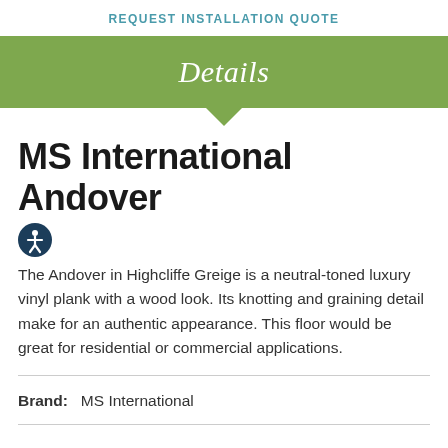REQUEST INSTALLATION QUOTE
Details
MS International Andover
The Andover in Highcliffe Greige is a neutral-toned luxury vinyl plank with a wood look. Its knotting and graining detail make for an authentic appearance. This floor would be great for residential or commercial applications.
Brand:   MS International